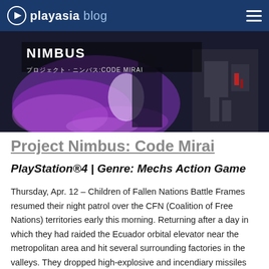playasia blog
[Figure (photo): Game banner image for Project Nimbus: Code Mirai showing mech battle scene with Japanese text プロジェクト・ニンバス:CODE MIRAI and purple energy effects]
Project Nimbus: Code Mirai
PlayStation®4 | Genre: Mechs Action Game
Thursday, Apr. 12 – Children of Fallen Nations Battle Frames resumed their night patrol over the CFN (Coalition of Free Nations) territories early this morning. Returning after a day in which they had raided the Ecuador orbital elevator near the metropolitan area and hit several surrounding factories in the valleys. They dropped high-explosive and incendiary missiles causing casualties and starting fires.
From windows in our blacked-out office shortly after 2 am...